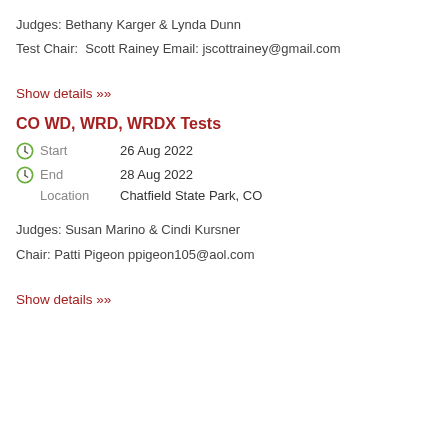Judges: Bethany Karger & Lynda Dunn
Test Chair:  Scott Rainey Email: jscottrainey@gmail.com
Show details »
CO WD, WRD, WRDX Tests
Start   26 Aug 2022
End   28 Aug 2022
Location   Chatfield State Park, CO
Judges: Susan Marino & Cindi Kursner
Chair: Patti Pigeon ppigeon105@aol.com
Show details »